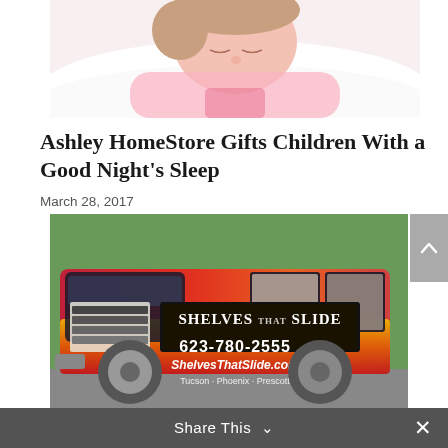[Figure (photo): Child sleeping peacefully on white pillow, wearing pink top, eyes closed, hands tucked under chin]
Ashley HomeStore Gifts Children With a Good Night's Sleep
March 28, 2017
[Figure (photo): Red branded vehicle/van with 'Shelves That Slide' logo, phone number 623-780-2555, website ShelvesThatSlide.com, and cities Tucson - Phoenix - Prescott]